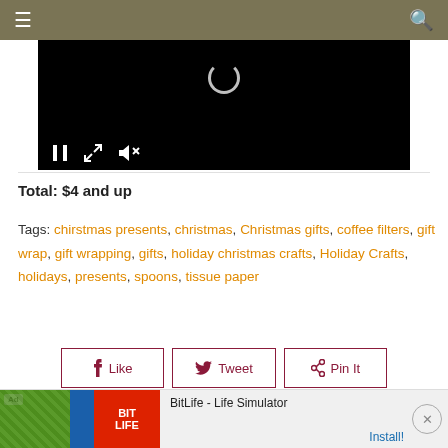Navigation bar with hamburger menu and search icon
[Figure (screenshot): Video player showing a black screen with a loading spinner circle and playback controls: pause button, expand button, mute button]
Total:  $4 and up
Tags: chirstmas presents, christmas, Christmas gifts, coffee filters, gift wrap, gift wrapping, gifts, holiday christmas crafts, Holiday Crafts, holidays, presents, spoons, tissue paper
Like  Tweet  Pin It
[Figure (screenshot): Ad banner for BitLife - Life Simulator with Install button and close button]